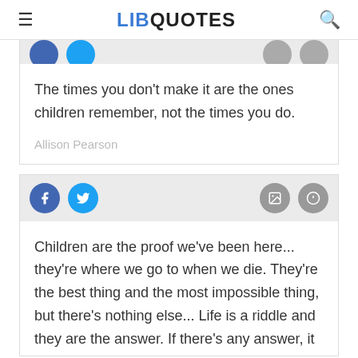LIBQUOTES
The times you don't make it are the ones children remember, not the times you do.
Allison Pearson
[Figure (screenshot): Social share buttons: Facebook, Twitter, image, and info icons]
Children are the proof we've been here... they're where we go to when we die. They're the best thing and the most impossible thing, but there's nothing else... Life is a riddle and they are the answer. If there's any answer, it